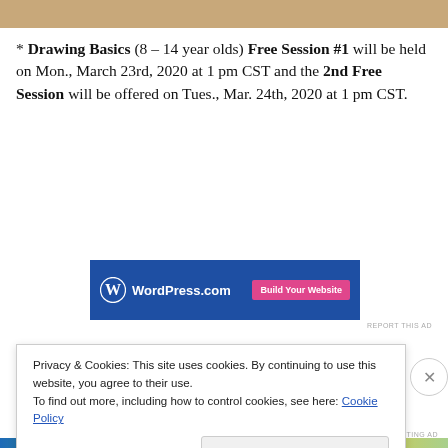[Figure (other): Decorative tan/beige horizontal bar at the top of the page]
* Drawing Basics (8 – 14 year olds) Free Session #1 will be held on Mon., March 23rd, 2020 at 1 pm CST and the 2nd Free Session will be offered on Tues., Mar. 24th, 2020 at 1 pm CST.
[Figure (screenshot): WordPress.com advertisement banner with blue background, WordPress logo on the left and 'Build Your Website' pink button on the right]
REPORT THIS AD
* I have included additional li... resources for this
Privacy & Cookies: This site uses cookies. By continuing to use this website, you agree to their use.
To find out more, including how to control cookies, see here: Cookie Policy